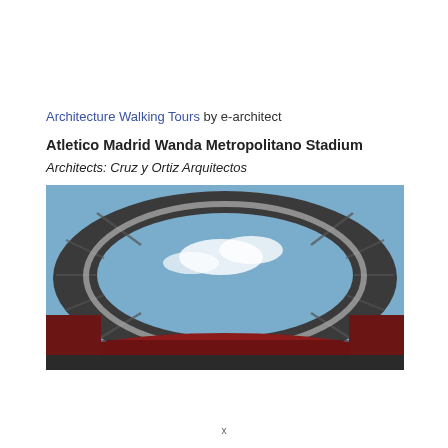Architecture Walking Tours by e-architect
Atletico Madrid Wanda Metropolitano Stadium
Architects: Cruz y Ortiz Arquitectos
[Figure (photo): Fisheye-like upward view from inside Atletico Madrid Wanda Metropolitano Stadium, showing the oval open roof with sky, clouds visible through the opening, and stadium seating surrounding the interior.]
x